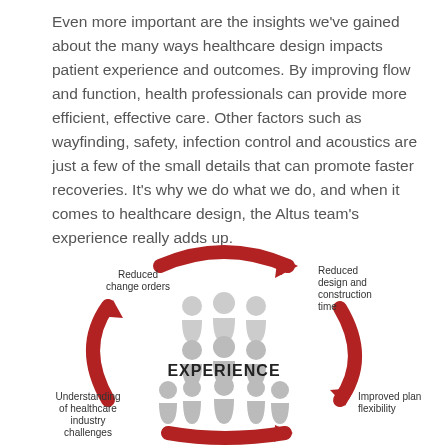Even more important are the insights we've gained about the many ways healthcare design impacts patient experience and outcomes. By improving flow and function, health professionals can provide more efficient, effective care. Other factors such as wayfinding, safety, infection control and acoustics are just a few of the small details that can promote faster recoveries. It's why we do what we do, and when it comes to healthcare design, the Altus team's experience really adds up.
[Figure (infographic): A circular infographic showing the cycle of experience benefits: center shows silhouettes of people with the word EXPERIENCE. Surrounding the center are four labels connected by red curved arrows: 'Reduced change orders' (top-left), 'Reduced design and construction time' (top-right), 'Improved plan flexibility' (right), 'Understanding of healthcare industry challenges' (left). Red arrows point clockwise between labels.]